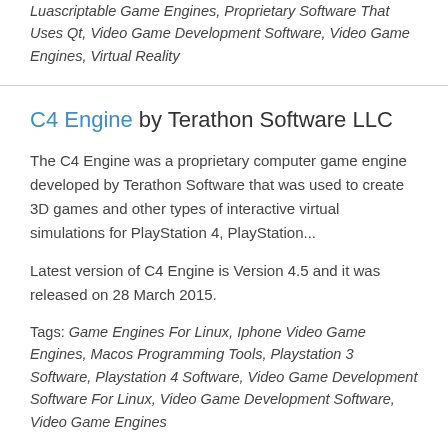Luascriptable Game Engines, Proprietary Software That Uses Qt, Video Game Development Software, Video Game Engines, Virtual Reality
C4 Engine by Terathon Software LLC
The C4 Engine was a proprietary computer game engine developed by Terathon Software that was used to create 3D games and other types of interactive virtual simulations for PlayStation 4, PlayStation...
Latest version of C4 Engine is Version 4.5 and it was released on 28 March 2015.
Tags: Game Engines For Linux, Iphone Video Game Engines, Macos Programming Tools, Playstation 3 Software, Playstation 4 Software, Video Game Development Software For Linux, Video Game Development Software, Video Game Engines